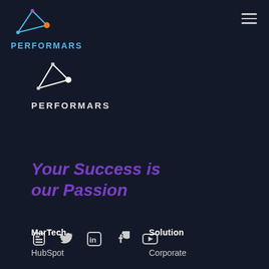[Figure (logo): Performars logo in header: geometric triangle/arrow icon in blue with orange dot, text PERFORMARS in blue]
[Figure (logo): Performars logo centered: white geometric triangle/arrow icon, text PERFORMARS in white/light gray below]
Your Success is our Passion
[Figure (infographic): Social media icons row: Blogger, Twitter, LinkedIn, Facebook, YouTube]
MarTech
Solution
HubSpot
Corporate